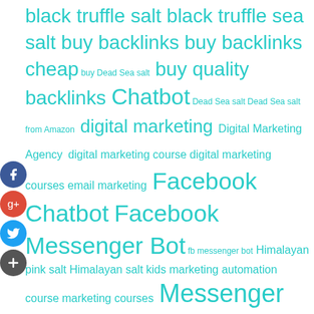[Figure (infographic): Tag cloud with social media share buttons (Facebook, Google+, Twitter, Add) on the left side. Tags in teal/cyan color with varying font sizes representing different topics including digital marketing, Facebook Chatbot, Messenger Bot, salt products, backlinks, etc.]